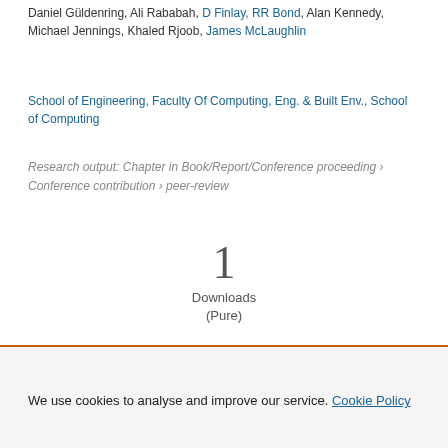Daniel Güldenring, Ali Rababah, D Finlay, RR Bond, Alan Kennedy, Michael Jennings, Khaled Rjoob, James McLaughlin
School of Engineering, Faculty Of Computing, Eng. & Built Env., School of Computing
Research output: Chapter in Book/Report/Conference proceeding › Conference contribution › peer-review
1
Downloads
(Pure)
We use cookies to analyse and improve our service. Cookie Policy